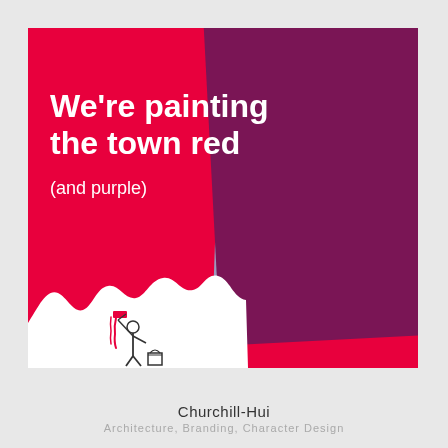[Figure (illustration): A graphic design card with a bright red/crimson background, a large purple tilted rectangle in the center-right, a light periwinkle shadow behind it, white paint splash at bottom left with a cartoon painter character holding a roller and a paint bucket, and bold white text reading 'We're painting the town red (and purple)']
Churchill-Hui
Architecture, Branding, Character Design